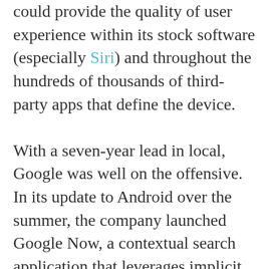could provide the quality of user experience within its stock software (especially Siri) and throughout the hundreds of thousands of third-party apps that define the device.

With a seven-year lead in local, Google was well on the offensive. In its update to Android over the summer, the company launched Google Now, a contextual search application that leverages implicit user data like location (rather than explicit signals like key words) to deliver the right information at the right time — in the right place. By the end of the year, we saw a handful of start-ups building similar applications and technology providers like Qualcomm Labs launching back-end